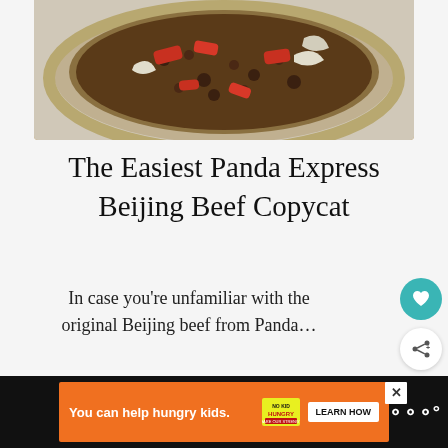[Figure (photo): Food photo showing a pan/skillet with Beijing beef dish — ground beef, red bell peppers, onions in sauce, viewed from above on a woven trivet]
The Easiest Panda Express Beijing Beef Copycat
In case you're unfamiliar with the original Beijing beef from Panda…
Read More
[Figure (other): Heart/favourite button (teal circle with heart icon) and share button (white circle with share icon)]
[Figure (other): WHAT'S NEXT → Teriyaki Ground Beef... recommendation card with thumbnail]
[Figure (other): Advertisement bar: orange background, 'You can help hungry kids.' No Kid Hungry logo, LEARN HOW button, close X, W logo on dark background]